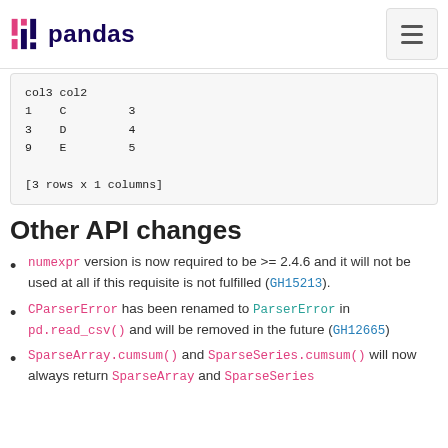pandas
col3 col2
1    C         3
3    D         4
9    E         5

[3 rows x 1 columns]
Other API changes
numexpr version is now required to be >= 2.4.6 and it will not be used at all if this requisite is not fulfilled (GH15213).
CParserError has been renamed to ParserError in pd.read_csv() and will be removed in the future (GH12665)
SparseArray.cumsum() and SparseSeries.cumsum() will now always return SparseArray and SparseSeries